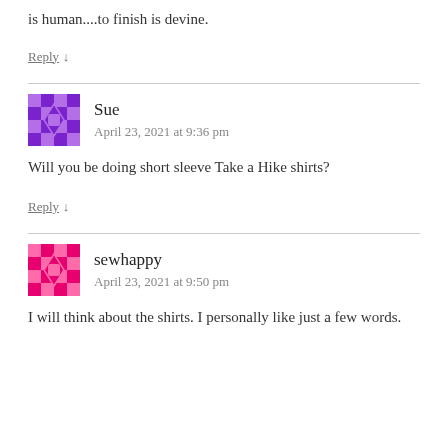is human....to finish is devine.
Reply ↓
Sue
April 23, 2021 at 9:36 pm
Will you be doing short sleeve Take a Hike shirts?
Reply ↓
sewhappy
April 23, 2021 at 9:50 pm
I will think about the shirts. I personally like just a few words.